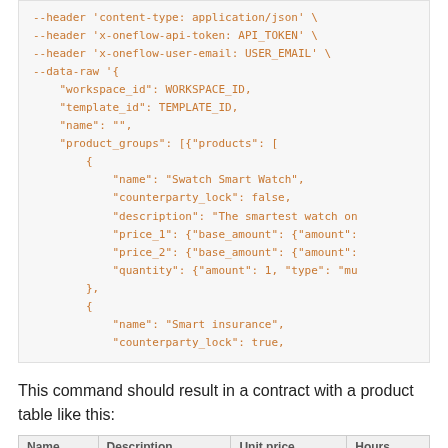--header 'content-type: application/json' \
--header 'x-oneflow-api-token: API_TOKEN' \
--header 'x-oneflow-user-email: USER_EMAIL' \
--data-raw '{
    "workspace_id": WORKSPACE_ID,
    "template_id": TEMPLATE_ID,
    "name": "",
    "product_groups": [{"products": [
        {
            "name": "Swatch Smart Watch",
            "counterparty_lock": false,
            "description": "The smartest watch on
            "price_1": {"base_amount": {"amount":
            "price_2": {"base_amount": {"amount":
            "quantity": {"amount": 1, "type": "mu
        },
        {
            "name": "Smart insurance",
            "counterparty_lock": true,
This command should result in a contract with a product table like this:
| Name | Description | Unit price | Hours |
| --- | --- | --- | --- |